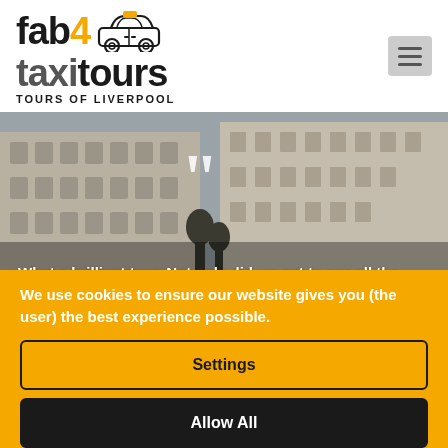[Figure (logo): Fab4 Taxi Tours logo with taxi car illustration. 'fab' in black bold, '4' in amber/orange, 'taxi' in grey bold, 'tours' in black bold, subtitle 'TOURS OF LIVERPOOL' in black capitals below.]
[Figure (photo): Background photo of Liverpool waterfront buildings (neoclassical architecture) with a large white quotation mark overlay and partial testimonial text: 'What a brilliant tour. Not only did we get to see all the Beatles sites']
We use cookies to ensure our website gives you (the user) the best experience possible.
Settings
Allow All
Disable All